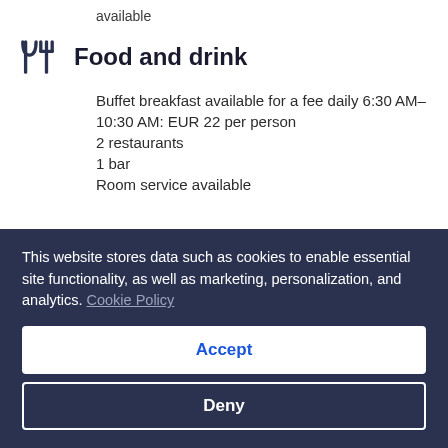available
Food and drink
Buffet breakfast available for a fee daily 6:30 AM–10:30 AM: EUR 22 per person
2 restaurants
1 bar
Room service available
Restaurants on site
Le 7 du Plaza
This website stores data such as cookies to enable essential site functionality, as well as marketing, personalization, and analytics. Cookie Policy
Accept
Deny